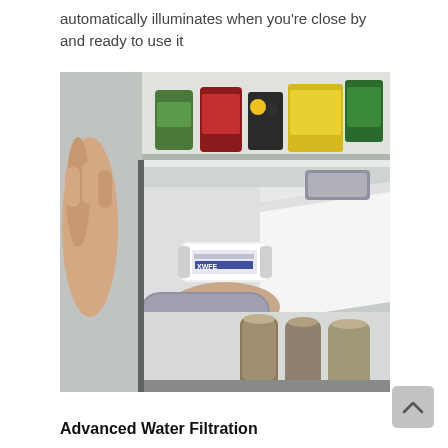automatically illuminates when you're close by and ready to use it
[Figure (photo): A person inserting or removing a water filter cartridge (labeled XWFE) into/from a refrigerator drawer, with food items visible on the top shelf and bottles on the bottom shelf.]
Advanced Water Filtration